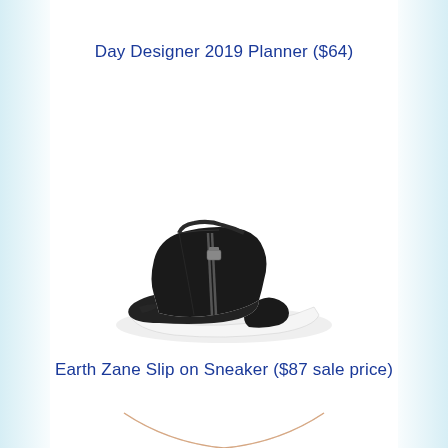Day Designer 2019 Planner ($64)
[Figure (photo): Black high-top sneaker with front zipper and white sole, photographed on white background]
Earth Zane Slip on Sneaker ($87 sale price)
[Figure (photo): Rose gold chain necklace on white background, partially visible at bottom of page]